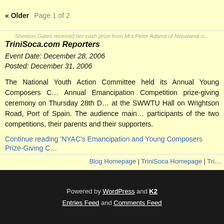« Older   Page 1 of 2
Shereon Gates received her cash prize from Mrs Peter Adams of Nepalama…
TriniSoca.com Reporters
Event Date: December 28, 2006
Posted: December 31, 2006
The National Youth Action Committee held its Annual Young Composers C… Annual Emancipation Competition prize-giving ceremony on Thursday 28th D… at the SWWTU Hall on Wrightson Road, Port of Spain. The audience main… participants of the two competitions, their parents and their supporters.
Continue reading 'NYAC's Emancipation and Young Composers Prize-Giving C…
Blog Homepage | TriniSoca Homepage | Tri…
Powered by WordPress and K2 Entries Feed and Comments Feed